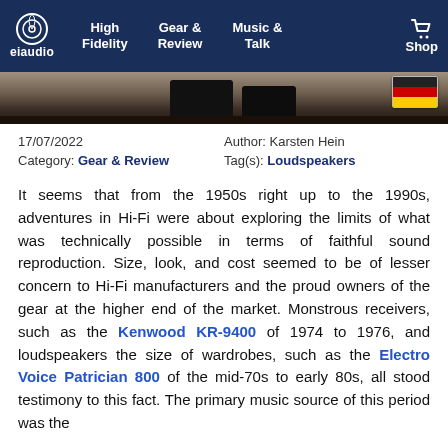eiaudio | High Fidelity | Gear & Review | Music & Talk | Shop
[Figure (photo): Hero banner image showing legs/shoes of a person standing on a wooden floor, partially cropped at bottom of nav bar]
17/07/2022
Category: Gear & Review
Author: Karsten Hein
Tag(s): Loudspeakers
It seems that from the 1950s right up to the 1990s, adventures in Hi-Fi were about exploring the limits of what was technically possible in terms of faithful sound reproduction. Size, look, and cost seemed to be of lesser concern to Hi-Fi manufacturers and the proud owners of the gear at the higher end of the market. Monstrous receivers, such as the Kenwood KR-9400 of 1974 to 1976, and loudspeakers the size of wardrobes, such as the Electro Voice Patrician 800 of the mid-70s to early 80s, all stood testimony to this fact. The primary music source of this period was the